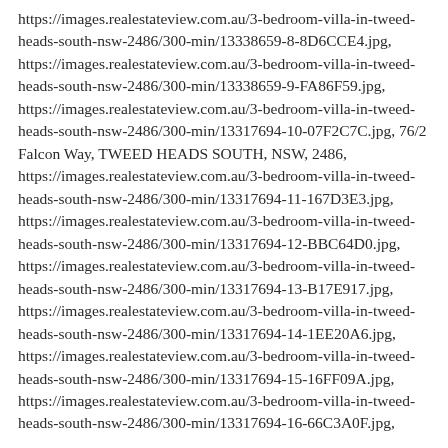https://images.realestateview.com.au/3-bedroom-villa-in-tweed-heads-south-nsw-2486/300-min/13338659-8-8D6CCE4.jpg, https://images.realestateview.com.au/3-bedroom-villa-in-tweed-heads-south-nsw-2486/300-min/13338659-9-FA86F59.jpg, https://images.realestateview.com.au/3-bedroom-villa-in-tweed-heads-south-nsw-2486/300-min/13317694-10-07F2C7C.jpg, 76/2 Falcon Way, TWEED HEADS SOUTH, NSW, 2486, https://images.realestateview.com.au/3-bedroom-villa-in-tweed-heads-south-nsw-2486/300-min/13317694-11-167D3E3.jpg, https://images.realestateview.com.au/3-bedroom-villa-in-tweed-heads-south-nsw-2486/300-min/13317694-12-BBC64D0.jpg, https://images.realestateview.com.au/3-bedroom-villa-in-tweed-heads-south-nsw-2486/300-min/13317694-13-B17E917.jpg, https://images.realestateview.com.au/3-bedroom-villa-in-tweed-heads-south-nsw-2486/300-min/13317694-14-1EE20A6.jpg, https://images.realestateview.com.au/3-bedroom-villa-in-tweed-heads-south-nsw-2486/300-min/13317694-15-16FF09A.jpg, https://images.realestateview.com.au/3-bedroom-villa-in-tweed-heads-south-nsw-2486/300-min/13317694-16-66C3A0F.jpg,